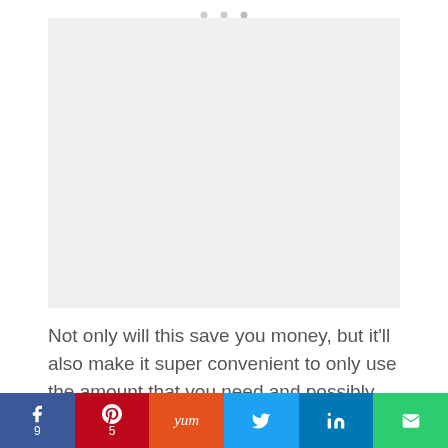[Figure (other): Light gray placeholder image area at top of page]
Not only will this save you money, but it'll also make it super convenient to only use the amount that you need and possibly prevent food waste!
The best part? It'll keep growing and giving you more herbs for free! If you're into gardening or
[Figure (infographic): Social share bar with Facebook (9), Pinterest (5), Yummly, Twitter, LinkedIn, and Email buttons]